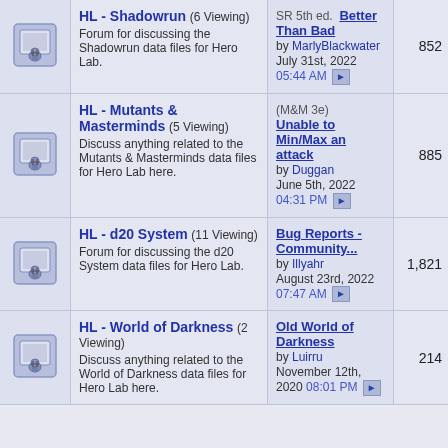| Icon | Forum | Last Post | Posts |
| --- | --- | --- | --- |
| [icon] | HL - Shadowrun (6 Viewing) Forum for discussing the Shadowrun data files for Hero Lab. | SR 5th ed. Better Than Bad by MarlyBlackwater July 31st, 2022 05:44 AM | 852 |
| [icon] | HL - Mutants & Masterminds (5 Viewing) Discuss anything related to the Mutants & Masterminds data files for Hero Lab here. | (M&M 3e) Unable to Min/Max an attack by Duggan June 5th, 2022 04:31 PM | 885 |
| [icon] | HL - d20 System (11 Viewing) Forum for discussing the d20 System data files for Hero Lab. | Bug Reports - Community... by Illyahr August 23rd, 2022 07:47 AM | 1,821 |
| [icon] | HL - World of Darkness (2 Viewing) Discuss anything related to the World of Darkness data files for Hero Lab here. | Old World of Darkness by Luirru November 12th, 2020 08:01 PM | 214 |